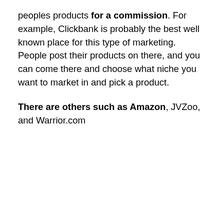peoples products for a commission. For example, Clickbank is probably the best well known place for this type of marketing. People post their products on there, and you can come there and choose what niche you want to market in and pick a product.
There are others such as Amazon, JVZoo, and Warrior.com